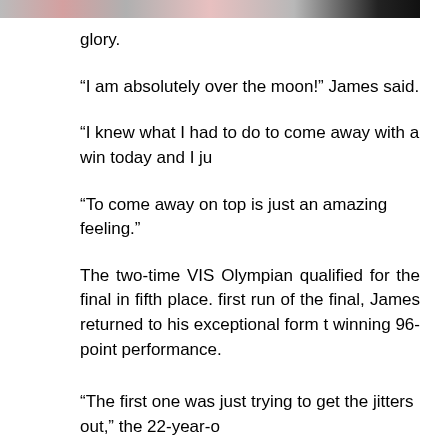[Figure (photo): Partial image strip at top of page showing people, cropped]
glory.
“I am absolutely over the moon!” James said.
“I knew what I had to do to come away with a win today and I ju
“To come away on top is just an amazing feeling.”
The two-time VIS Olympian qualified for the final in fifth place. first run of the final, James returned to his exceptional form t winning 96-point performance.
“The first one was just trying to get the jitters out,” the 22-year-o
“I unfortunately came unstuck, but was able to put the next tw one.
“I knew I had to mix it up to come away with a win today, especi